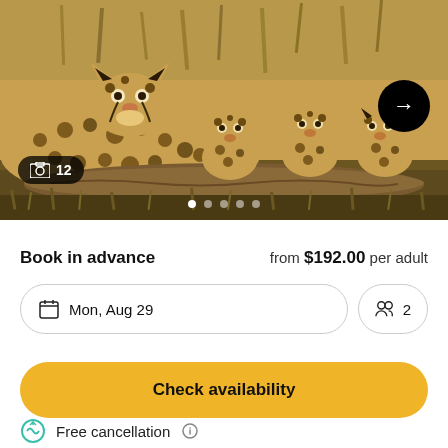[Figure (photo): A cheetah mother with several cubs resting on grass and a log in the savanna. Navigation arrow button visible top-right, photo count badge showing 12 in bottom-left, 5 carousel dots at bottom center.]
Book in advance
from $192.00 per adult
Mon, Aug 29
2
Check availability
Free cancellation